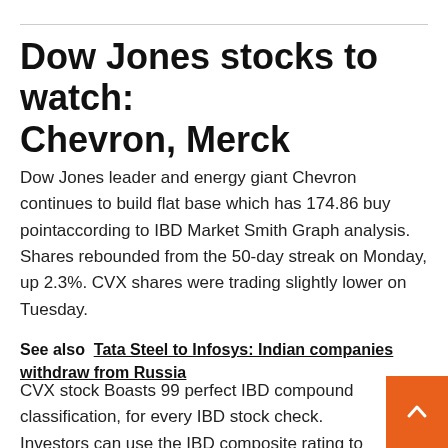Dow Jones stocks to watch: Chevron, Merck
Dow Jones leader and energy giant Chevron continues to build flat base which has 174.86 buy pointaccording to IBD Market Smith Graph analysis. Shares rebounded from the 50-day streak on Monday, up 2.3%. CVX shares were trading slightly lower on Tuesday.
See also  Tata Steel to Infosys: Indian companies withdraw from Russia
CVX stock Boasts 99 perfect IBD compound classification, for every IBD stock check. Investors can use the IBD composite rating to easily gauge the